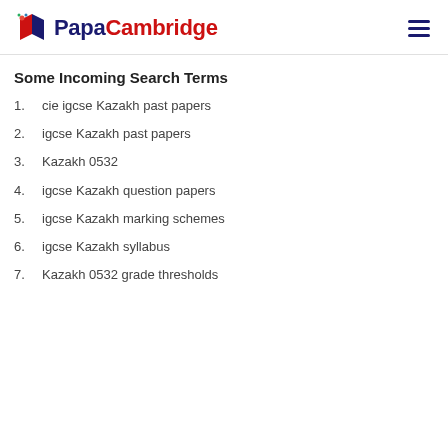PapaCambridge
Some Incoming Search Terms
cie igcse Kazakh past papers
igcse Kazakh past papers
Kazakh 0532
igcse Kazakh question papers
igcse Kazakh marking schemes
igcse Kazakh syllabus
Kazakh 0532 grade thresholds